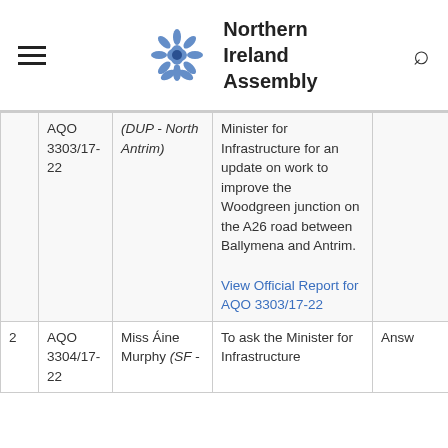Northern Ireland Assembly
|  | Ref | Member | Question | Status |
| --- | --- | --- | --- | --- |
|  | AQO 3303/17-22 | (DUP - North Antrim) | Minister for Infrastructure for an update on work to improve the Woodgreen junction on the A26 road between Ballymena and Antrim.

View Official Report for AQO 3303/17-22 |  |
| 2 | AQO 3304/17-22 | Miss Áine Murphy (SF - | To ask the Minister for Infrastructure | Answ |